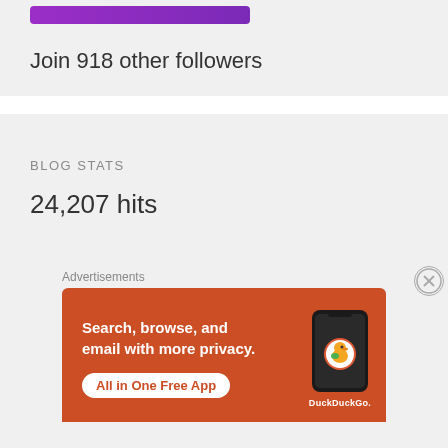[Figure (other): Purple follow button (partially visible at top)]
Join 918 other followers
BLOG STATS
24,207 hits
Advertisements
[Figure (infographic): DuckDuckGo advertisement banner on orange-red background with text: Search, browse, and email with more privacy. All in One Free App. Shows a phone with DuckDuckGo logo.]